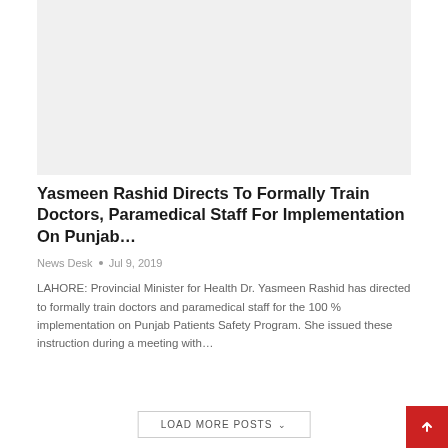[Figure (photo): Gray placeholder image for article thumbnail]
Yasmeen Rashid Directs To Formally Train Doctors, Paramedical Staff For Implementation On Punjab…
News Desk  •  Jul 9, 2019
LAHORE: Provincial Minister for Health Dr. Yasmeen Rashid has directed to formally train doctors and paramedical staff for the 100 % implementation on Punjab Patients Safety Program. She issued these instruction during a meeting with…